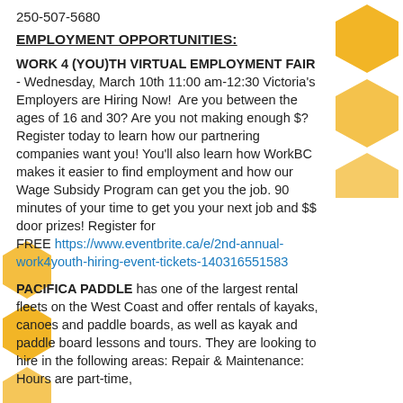250-507-5680
EMPLOYMENT OPPORTUNITIES:
WORK 4 (YOU)TH VIRTUAL EMPLOYMENT FAIR - Wednesday, March 10th 11:00 am-12:30 Victoria's Employers are Hiring Now!  Are you between the ages of 16 and 30? Are you not making enough $? Register today to learn how our partnering companies want you! You'll also learn how WorkBC makes it easier to find employment and how our Wage Subsidy Program can get you the job. 90 minutes of your time to get you your next job and $$ door prizes! Register for FREE https://www.eventbrite.ca/e/2nd-annual-work4youth-hiring-event-tickets-140316551583
PACIFICA PADDLE has one of the largest rental fleets on the West Coast and offer rentals of kayaks, canoes and paddle boards, as well as kayak and paddle board lessons and tours. They are looking to hire in the following areas: Repair & Maintenance: Hours are part-time,
[Figure (illustration): Decorative honeycomb/hexagon pattern in gold/yellow on the right side and bottom-left of the page]